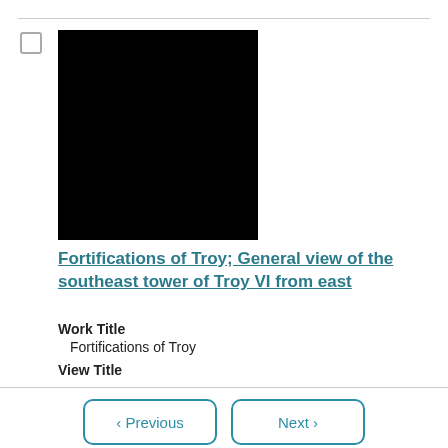[Figure (photo): Black square thumbnail image of the Fortifications of Troy, southeast tower of Troy VI from east]
Fortifications of Troy; General view of the southeast tower of Troy VI from east
Work Title
Fortifications of Troy
View Title